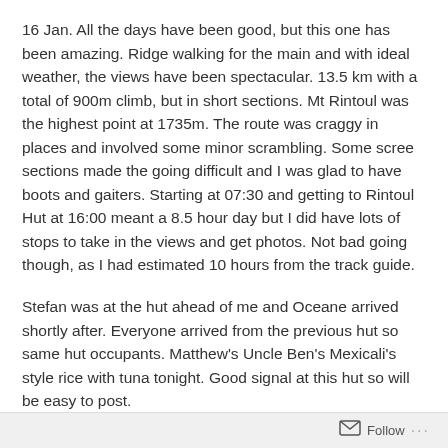16 Jan. All the days have been good, but this one has been amazing. Ridge walking for the main and with ideal weather, the views have been spectacular. 13.5 km with a total of 900m climb, but in short sections. Mt Rintoul was the highest point at 1735m. The route was craggy in places and involved some minor scrambling. Some scree sections made the going difficult and I was glad to have boots and gaiters. Starting at 07:30 and getting to Rintoul Hut at 16:00 meant a 8.5 hour day but I did have lots of stops to take in the views and get photos. Not bad going though, as I had estimated 10 hours from the track guide.
Stefan was at the hut ahead of me and Oceane arrived shortly after. Everyone arrived from the previous hut so same hut occupants. Matthew's Uncle Ben's Mexicali's style rice with tuna tonight. Good signal at this hut so will be easy to post.
Follow ···